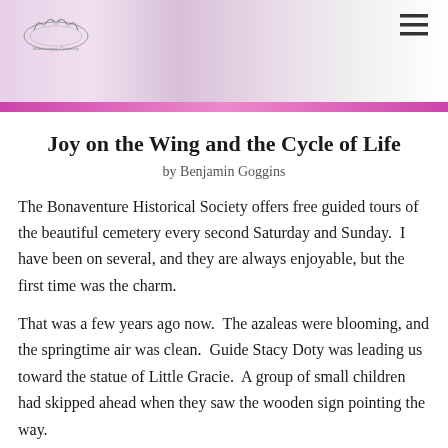[Figure (photo): Website header image with pink and white blurred floral background, a decorative logo with crown emblem on the left, and a hamburger menu icon on the right]
Joy on the Wing and the Cycle of Life
by Benjamin Goggins
The Bonaventure Historical Society offers free guided tours of the beautiful cemetery every second Saturday and Sunday.  I have been on several, and they are always enjoyable, but the first time was the charm.
That was a few years ago now.  The azaleas were blooming, and the springtime air was clean.  Guide Stacy Doty was leading us toward the statue of Little Gracie.  A group of small children had skipped ahead when they saw the wooden sign pointing the way.